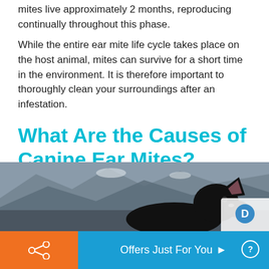mites live approximately 2 months, reproducing continually throughout this phase.
While the entire ear mite life cycle takes place on the host animal, mites can survive for a short time in the environment. It is therefore important to thoroughly clean your surroundings after an infestation.
What Are the Causes of Canine Ear Mites?
[Figure (photo): A black dog with tongue out, set against a blurred rocky and snowy mountain background. The dog appears to be a German Shepherd mix or Labrador mix.]
Offers Just For You ▶